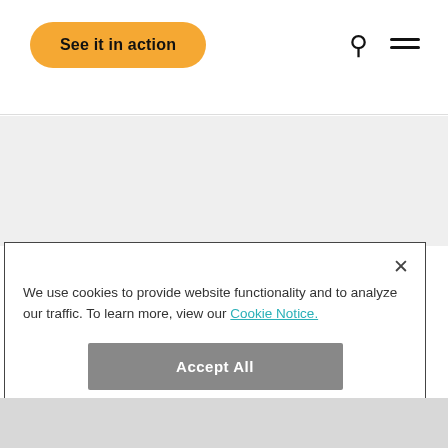See it in action
[Figure (screenshot): Website navigation bar with orange rounded 'See it in action' button on the left, and search and hamburger menu icons on the right]
We use cookies to provide website functionality and to analyze our traffic. To learn more, view our Cookie Notice.
Accept All
Cookie Settings